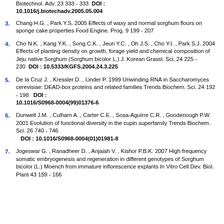Biotechnol. Adv. 23 333 - 333  DOI: 10.1016/j.biotechadv.2005.05.004
3. Chang H.G. , Park Y.S. 2005 Effects of waxy and normal sorghum flours on sponge cake properties Food Engine. Prog. 9 199 - 207
4. Cho N.K. , Kang Y.K. , Song C.K. , Jeun Y.C. , Oh J.S. , Cho Y.I. , Park S.J. 2004 Effects of planting density on growth, forage yield and chemical composition of Jeju native Sorghum (Sorghum bicolor L.) J. Korean Grassl. Sci. 24 225 - 230  DOI: 10.5333/KGFS.2004.24.3.225
5. De la Cruz J. , Kressler D. , Linder P. 1999 Unwinding RNA in Saccharomyces cerevisiae: DEAD-box proteins and related families Trends Biochem. Sci. 24 192 - 198  DOI: 10.1016/S0968-0004(99)01376-6
6. Dunwell J.M. , Culham A. , Carter C.E. , Sosa-Aguirre C.R. , Goodenough P.W. 2001 Evolution of functional diversity in the cupin superfamily Trends Biochem. Sci. 26 740 - 746  DOI: 10.1016/S0968-0004(01)01981-8
7. Jogeswar G. , Ranadheer D. , Anjaiah V. , Kishor P.B.K. 2007 High frequency somatic embryogenesis and regeneration in different genotypes of Sorghum bicolor (L.) Moench from immature inflorescence explants In Vitro Cell Dev. Biol. Plant 43 159 - 166